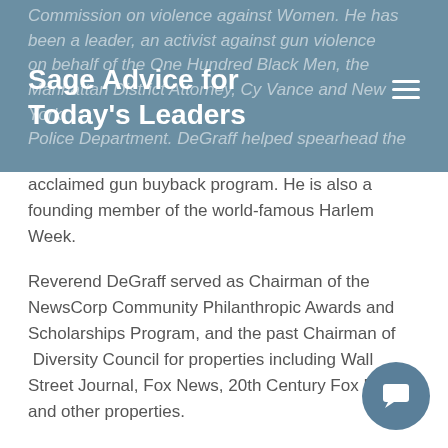Sage Advice for Today's Leaders
Commission on violence against Women. He has been a leader, an activist against gun violence on behalf of the One Hundred Black Men, the Manhattan District Attorney, Cy Vance and New York Police Department. DeGraff helped spearhead the acclaimed gun buyback program. He is also a founding member of the world-famous Harlem Week.
Reverend DeGraff served as Chairman of the NewsCorp Community Philanthropic Awards and Scholarships Program, and the past Chairman of Diversity Council for properties including Wall Street Journal, Fox News, 20th Century Fox Films and other properties.
He is the past chairman of the Board of the Urban Assembly, an innovative educational foundation that has created over twenty-two public schools in the